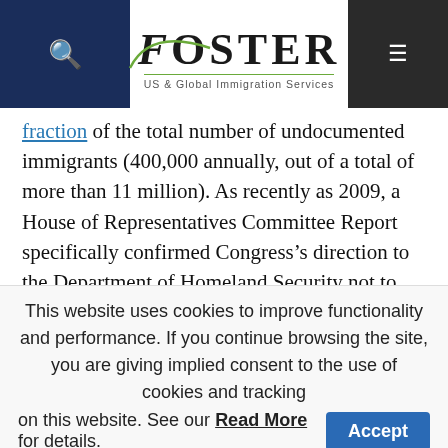Foster — US & Global Immigration Services
fraction of the total number of undocumented immigrants (400,000 annually, out of a total of more than 11 million). As recently as 2009, a House of Representatives Committee Report specifically confirmed Congress's direction to the Department of Homeland Security not to “simply round up as many illegal immigrants as possible,” but to ensure “that the government’s huge investments in immigration enforcement are producing the
This website uses cookies to improve functionality and performance. If you continue browsing the site, you are giving implied consent to the use of cookies and tracking on this website. See our Read More for details.